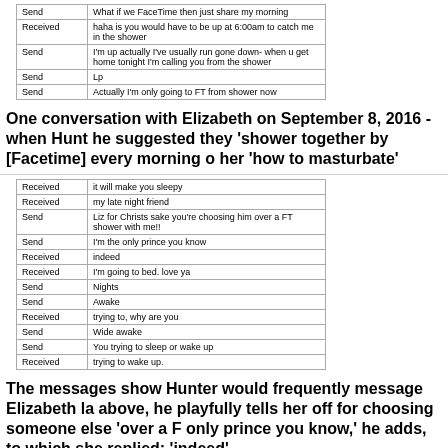|  |  |
| --- | --- |
| Send | What if we FaceTime then just share my morning |
| Received | haha is you would have to be up at 6:00am to catch me in the shower |
| Send | I'm up actually I've usually run gone down- when u get home tonight I'm calling you from the shower |
| Send | Lp |
| Send | Actually I'm only going to FT from shower now |
One conversation with Elizabeth on September 8, 2016 - when Hunt he suggested they 'shower together by [Facetime] every morning o her 'how to masturbate'
|  |  |
| --- | --- |
| Received | it will make you sleepy |
| Received | my late night friend |
| Send | Liz for Christs sake you're choosing him over a FT shower with me!! |
| Send | I'm the only prince you know |
| Received | indeed |
| Received | I'm going to bed. love ya |
| Send | Nights |
| Send | Awake |
| Received | trying to, why are you |
| Send | Wide awake |
| Send | You trying to sleep or wake up |
| Received | trying to wake up. |
The messages show Hunter would frequently message Elizabeth la above, he playfully tells her off for choosing someone else 'over a F only prince you know,' he adds, to which she replied: 'indeed'
|  |  |
| --- | --- |
| Send | I got new underwear from Lululemon. today almost bought you a pair but I still like the Tommy John better |
| Send | it was funny I walked in the store everything I had on was Lululemon they looked at me like I was insane |
| Received | that is funny. I have lulu panties, they are my only non Grannies besides the ones from you |
| Send | Being in this apartment is so strange - busy the first time I've ever been alone -sometimes I can't sleep just because I know I can do anything I want -so I just sit here and watch bad porno movies like I'm 13- patheti |
| Send | Are they the boys worded one just like that the boys ones I wear |
| Send | Are they the boy ones I wear |
| Received | something is now wrong with my phone. it keeps freezing then I have to reboot it |
| Send | Also should you collect panties from me I don't think its ever over I do know that and you deserve them |